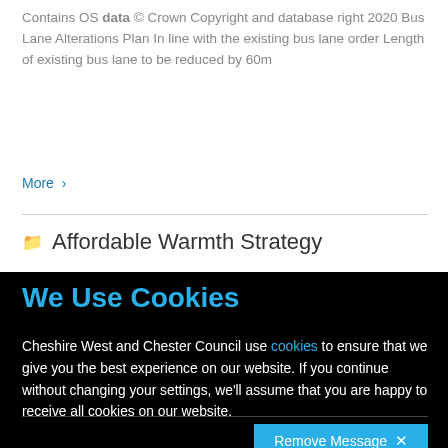Contains OS data © Crown Copyright and database right 2020 Bus Lane Alterations Plan In line with the existing bus lane order Length of existing bus lane to be reduced by 60m
More ›
Affordable Warmth Strategy
Action Plan 2016-20
We Use Cookies
Cheshire West and Chester Council use cookies to ensure that we give you the best experience on our website. If you continue without changing your settings, we'll assume that you are happy to receive all cookies on our website.
Remove Message ✕